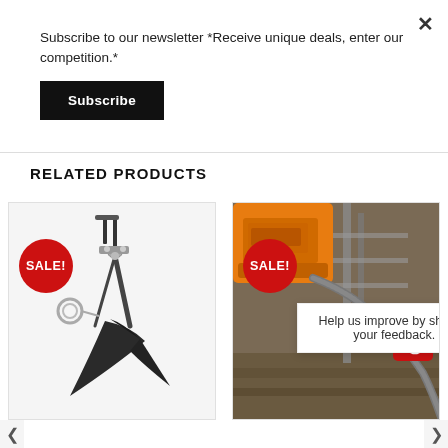Subscribe to our newsletter *Receive unique deals, enter our competition.*
Subscribe
RELATED PRODUCTS
[Figure (photo): Agricultural plow implement with SALE! badge overlay]
[Figure (photo): Power tool / brush cutter in use outdoors with SALE! badge overlay]
Help us improve by sharing your feedback.